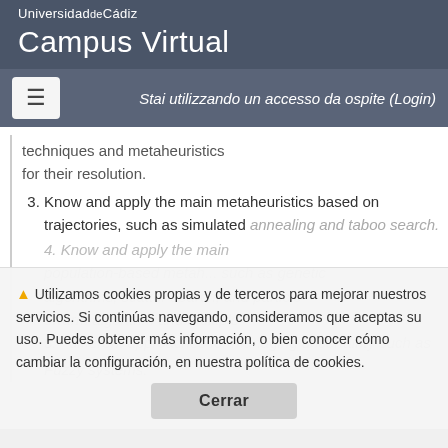Universidad de Cádiz
Campus Virtual
Stai utilizzando un accesso da ospite (Login)
techniques and metaheuristics for their resolution.
3. Know and apply the main metaheuristics based on trajectories, such as simulated annealing and taboo search.
⚠ Utilizamos cookies propias y de terceros para mejorar nuestros servicios. Si continúas navegando, consideramos que aceptas su uso. Puedes obtener más información, o bien conocer cómo cambiar la configuración, en nuestra política de cookies.
Cerrar